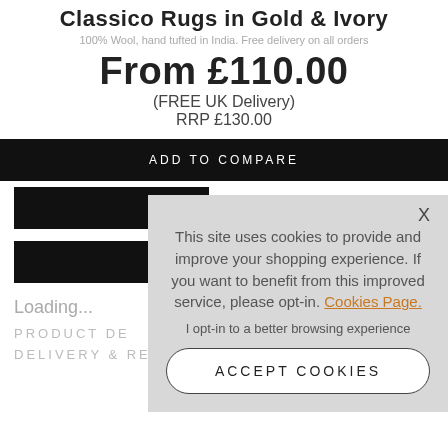Classico Rugs in Gold & Ivory
100% Wool, hand tufted in India. Free delivery on all orders
From £110.00
(FREE UK Delivery)
RRP £130.00
ADD TO COMPARE
Loading...
PRODUCT DE
DELIVERY & RETURNS
This site uses cookies to provide and improve your shopping experience. If you want to benefit from this improved service, please opt-in. Cookies Page.
I opt-in to a better browsing experience
ACCEPT COOKIES